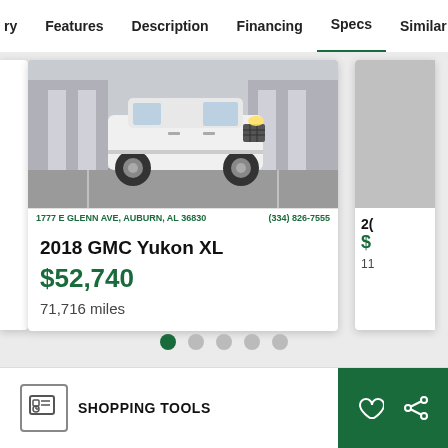ry   Features   Description   Financing   Specs   Similar
[Figure (screenshot): 2018 GMC Yukon XL vehicle listing card showing a white SUV photo, dealer address 1777 E GLENN AVE, AUBURN, AL 36830, phone (334) 826-7555, price $52,740, and 71,716 miles. Partially visible second card on right.]
2018 GMC Yukon XL
$52,740
71,716 miles
Disclaimer
SHOPPING TOOLS